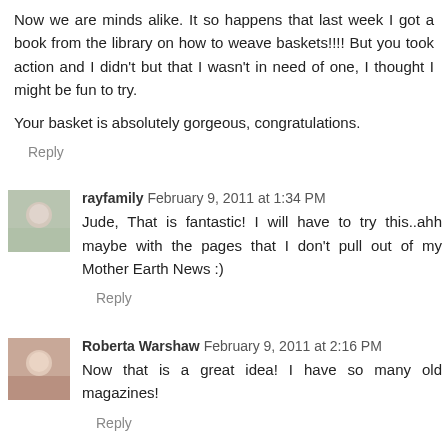Now we are minds alike. It so happens that last week I got a book from the library on how to weave baskets!!!! But you took action and I didn't but that I wasn't in need of one, I thought I might be fun to try.
Your basket is absolutely gorgeous, congratulations.
Reply
rayfamily  February 9, 2011 at 1:34 PM
Jude, That is fantastic! I will have to try this..ahh maybe with the pages that I don't pull out of my Mother Earth News :)
Reply
Roberta Warshaw  February 9, 2011 at 2:16 PM
Now that is a great idea! I have so many old magazines!
Reply